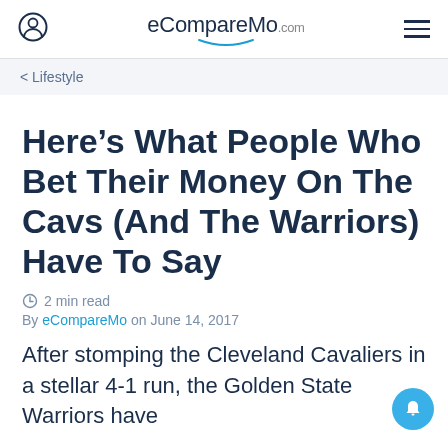eCompareMo.com
< Lifestyle
Here's What People Who Bet Their Money On The Cavs (And The Warriors) Have To Say
2 min read
By eCompareMo on June 14, 2017
After stomping the Cleveland Cavaliers in a stellar 4-1 run, the Golden State Warriors have...